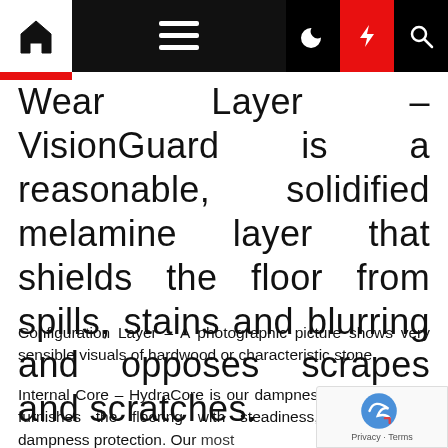Navigation bar with home, menu, dark mode, flash, and search icons
Wear Layer – VisionGuard is a reasonable, solidified melamine layer that shields the floor from spills, stains and blurring and opposes scrapes and scratches.
Configuration Layer – A photographic picture shows very sensible visuals of hardwood or characteristic stone.
Internal Core – HydraCore is our dampness safe HDF that furnishes the flooring with steadiness, strength and dampness protection. Our most elevated quality laminate flooring items hig... HydraCore™ Plus, which additionally includes a... significant feel and ideal sound retention.